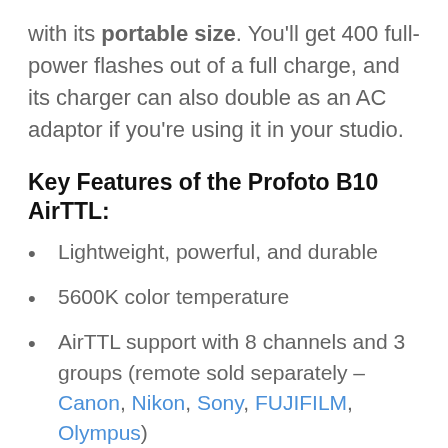with its portable size. You'll get 400 full-power flashes out of a full charge, and its charger can also double as an AC adaptor if you're using it in your studio.
Key Features of the Profoto B10 AirTTL:
Lightweight, powerful, and durable
5600K color temperature
AirTTL support with 8 channels and 3 groups (remote sold separately – Canon, Nikon, Sony, FUJIFILM, Olympus)
Modeling CRI of 90-96 that's also great for videos